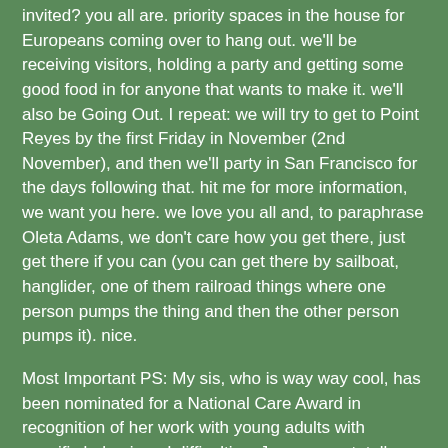invited? you all are. priority spaces in the house for Europeans coming over to hang out. we'll be receiving visitors, holding a party and getting some good food in for anyone that wants to make it. we'll also be Going Out. I repeat: we will try to get to Point Reyes by the first Friday in November (2nd November), and then we'll party in San Francisco for the days following that. hit me for more information, we want you here. we love you all and, to paraphrase Oleta Adams, we don't care how you get there, just get there if you can (you can get there by sailboat, hanglider, one of them railroad things where one person pumps the thing and then the other person pumps it). nice.
Most Important PS: My sis, who is way way cool, has been nominated for a National Care Award in recognition of her work with young adults with specific behavioural difficulties. Jen, you so totally rule 😊
PS: Dave has uploaded loads of fantastic new photos of Burning Man and Utah. Check them in the Gallery.
Stuart    Have a comment? Please sign the guestbook